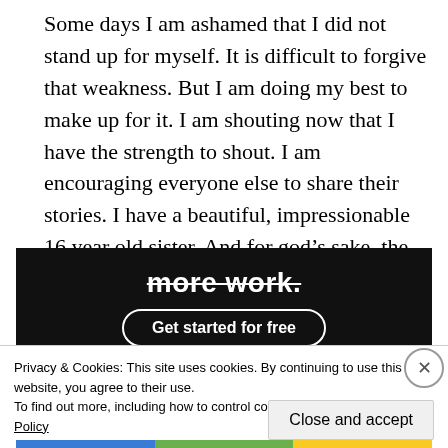Some days I am ashamed that I did not stand up for myself. It is difficult to forgive that weakness. But I am doing my best to make up for it. I am shouting now that I have the strength to shout. I am encouraging everyone else to share their stories. I have a beautiful, impressionable 16 year old sister. And for god’s sake, the lesson I teach her is not going to be one of silence.
[Figure (screenshot): Dark banner advertisement with bold white text 'more work.' (struck through) and a 'Get started for free' button with rounded white border]
Privacy & Cookies: This site uses cookies. By continuing to use this website, you agree to their use.
To find out more, including how to control cookies, see here: Cookie Policy
Close and accept